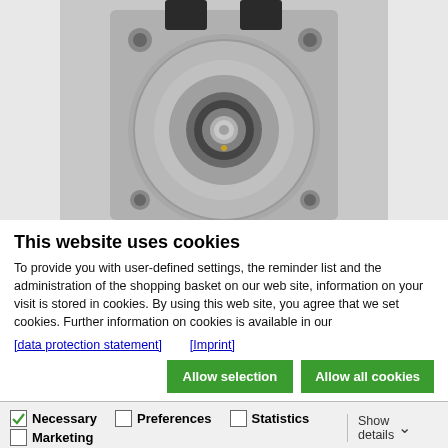[Figure (photo): Front view of an industrial servo motor/stepper motor showing circular face with central shaft, mounting holes at corners, and electrical connectors on top]
This website uses cookies
To provide you with user-defined settings, the reminder list and the administration of the shopping basket on our web site, information on your visit is stored in cookies. By using this web site, you agree that we set cookies. Further information on cookies is available in our
[data protection statement]    [Imprint]
Allow selection   Allow all cookies
Necessary   Preferences   Statistics   Marketing   Show details